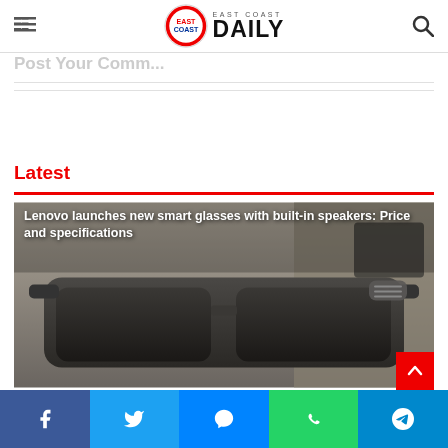East Coast Daily
Post Your Comment
Latest
[Figure (photo): News card showing smart glasses on a surface with overlay title text: Lenovo launches new smart glasses with built-in speakers: Price and specifications]
Facebook | Twitter | Messenger | WhatsApp | Telegram